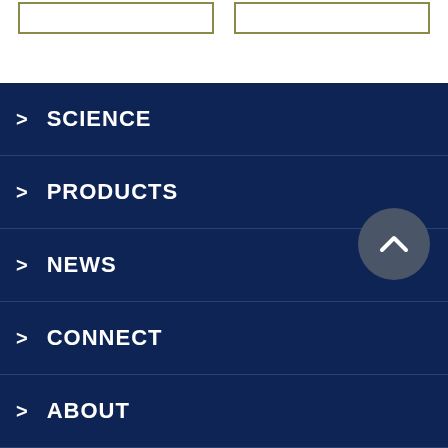[Figure (other): Two bordered rectangular boxes at the top of the page]
1
2
>>
Last >>
> SCIENCE
> PRODUCTS
> NEWS
> CONNECT
> ABOUT